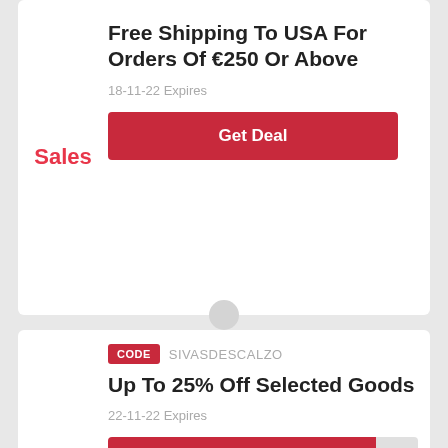Free Shipping To USA For Orders Of €250 Or Above
Sales
18-11-22 Expires
Get Deal
CODE  SIVASDESCALZO
Up To 25% Off Selected Goods
25%
22-11-22 Expires
Get Code
CODE  SIVASDESCALZO
Get This Code And Save